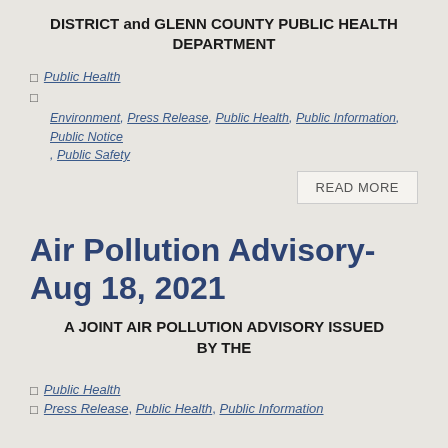DISTRICT and GLENN COUNTY PUBLIC HEALTH DEPARTMENT
Public Health
Environment, Press Release, Public Health, Public Information, Public Notice, Public Safety
READ MORE
Air Pollution Advisory- Aug 18, 2021
A JOINT AIR POLLUTION ADVISORY ISSUED BY THE
Public Health
Press Release, Public Health, Public Information